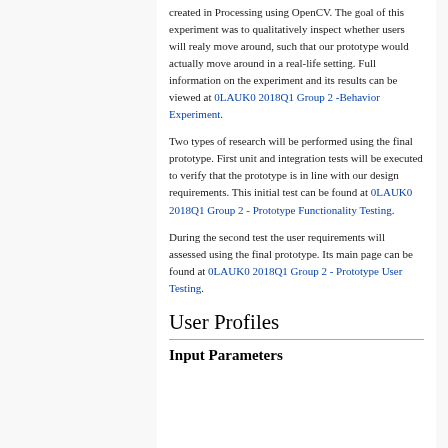created in Processing using OpenCV. The goal of this experiment was to qualitatively inspect whether users will realy move around, such that our prototype would actually move around in a real-life setting. Full information on the experiment and its results can be viewed at 0LAUK0 2018Q1 Group 2 -Behavior Experiment.
Two types of research will be performed using the final prototype. First unit and integration tests will be executed to verify that the prototype is in line with our design requirements. This initial test can be found at 0LAUK0 2018Q1 Group 2 - Prototype Functionality Testing.
During the second test the user requirements will assessed using the final prototype. Its main page can be found at 0LAUK0 2018Q1 Group 2 - Prototype User Testing.
User Profiles
Input Parameters